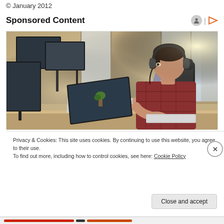© January 2012
Sponsored Content
[Figure (photo): Two office workers wearing headphones sitting at desks with computers in a bright open-plan office. A man in the foreground wearing a plaid shirt types on a laptop, and a woman in the background uses a desktop computer.]
Privacy & Cookies: This site uses cookies. By continuing to use this website, you agree to their use.
To find out more, including how to control cookies, see here: Cookie Policy